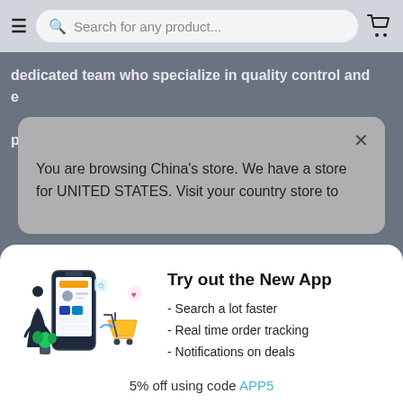Search for any product...
dedicated team who specialize in quality control and e... p...
You are browsing China's store. We have a store for UNITED STATES. Visit your country store to
Try out the New App
- Search a lot faster
- Real time order tracking
- Notifications on deals
5% off using code APP5
Open on the App
Continue in Browser